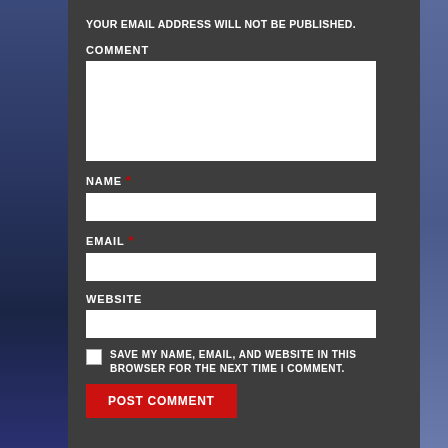YOUR EMAIL ADDRESS WILL NOT BE PUBLISHED.
COMMENT
[Figure (other): Comment textarea input field]
NAME *
[Figure (other): Name text input field]
EMAIL *
[Figure (other): Email text input field]
WEBSITE
[Figure (other): Website text input field]
SAVE MY NAME, EMAIL, AND WEBSITE IN THIS BROWSER FOR THE NEXT TIME I COMMENT.
POST COMMENT